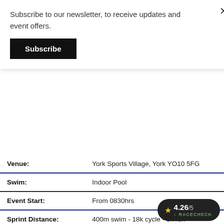Subscribe to our newsletter, to receive updates and event offers.
Subscribe
| Field | Value |
| --- | --- |
| Venue: | York Sports Village, York YO10 5FG |
| Swim: | Indoor Pool |
| Event Start: | From 0830hrs |
| Sprint Distance: | 400m swim - 18k cycle - 5k run |
| Team Relay: | 400m swim - 18k cycle - 5k run |
| Super Sprint: | 200m swim - 9k cycle - 2.5k run |
| Fun Wave: | 200m swim - 9k cycle  |
[Figure (other): Racecheck rating badge showing 4.26/5 with a star icon and Racecheck logo]